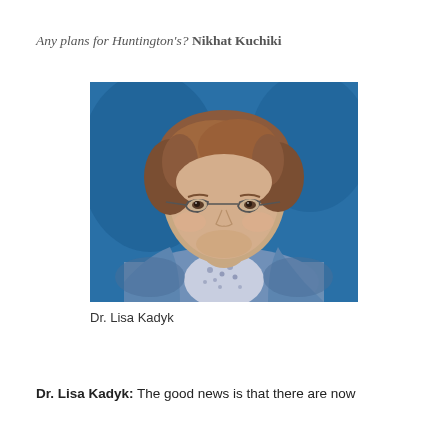Any plans for Huntington's? Nikhat Kuchiki
[Figure (photo): Professional headshot of Dr. Lisa Kadyk, a woman with short reddish-brown hair and glasses, wearing a blue cardigan over a floral blouse, against a blue background]
Dr. Lisa Kadyk
Dr. Lisa Kadyk: The good news is that there are now